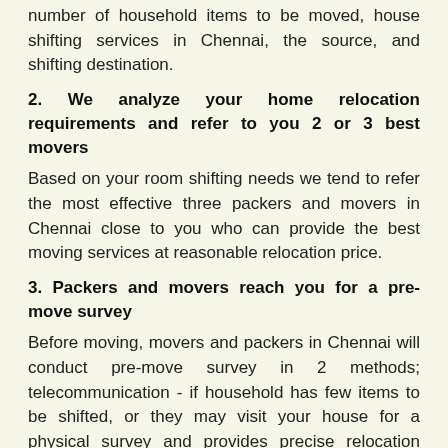number of household items to be moved, house shifting services in Chennai, the source, and shifting destination.
2. We analyze your home relocation requirements and refer to you 2 or 3 best movers
Based on your room shifting needs we tend to refer the most effective three packers and movers in Chennai close to you who can provide the best moving services at reasonable relocation price.
3. Packers and movers reach you for a pre-move survey
Before moving, movers and packers in Chennai will conduct pre-move survey in 2 methods; telecommunication - if household has few items to be shifted, or they may visit your house for a physical survey and provides precise relocation price.
4. Get Chennai packers and movers estimates, compare, and finalise one